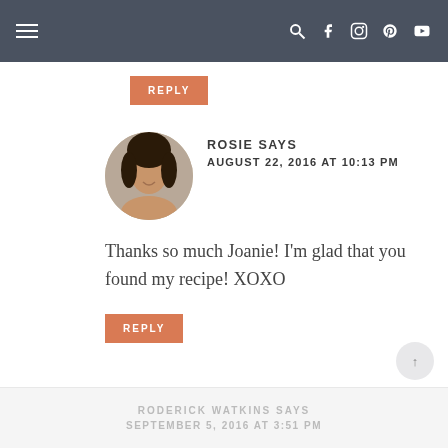Navigation bar with hamburger menu and social icons
REPLY
ROSIE SAYS
AUGUST 22, 2016 AT 10:13 PM
Thanks so much Joanie! I'm glad that you found my recipe! XOXO
REPLY
RODERICK WATKINS SAYS
SEPTEMBER 5, 2016 AT 3:51 PM